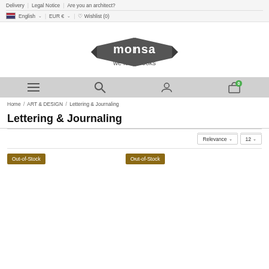Delivery | Legal Notice | Are you an architect? | English | EUR € | Wishlist (0)
[Figure (logo): Monsa 'we love books' logo in dark gray with banner ribbon design]
[Figure (screenshot): Navigation bar with hamburger menu, search, user, and cart icons (0 items badge)]
Home / ART & DESIGN / Lettering & Journaling
Lettering & Journaling
Relevance ∨   12 ∨
Out-of-Stock   Out-of-Stock